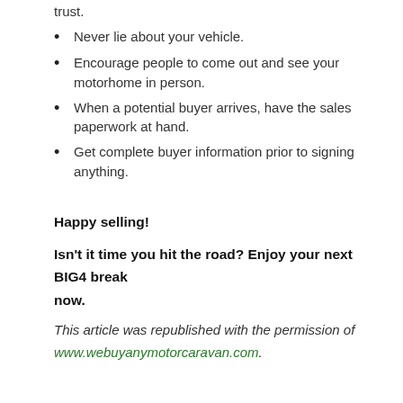trust.
Never lie about your vehicle.
Encourage people to come out and see your motorhome in person.
When a potential buyer arrives, have the sales paperwork at hand.
Get complete buyer information prior to signing anything.
Happy selling!
Isn't it time you hit the road? Enjoy your next BIG4 break now.
This article was republished with the permission of
www.webuyanymotorcaravan.com.